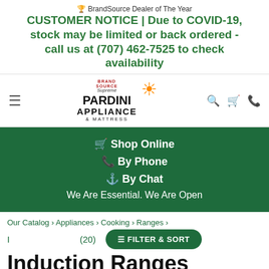🏆 BrandSource Dealer of The Year
CUSTOMER NOTICE | Due to COVID-19, stock may be limited or back ordered - call us at (707) 462-7525 to check availability
[Figure (logo): Pardini Appliance & Mattress logo with BrandSource badge and orange sun graphic]
🛒 Shop Online
📞 By Phone
⌨ By Chat
We Are Essential. We Are Open
Our Catalog > Appliances > Cooking > Ranges >
Induction Ranges (20)
FILTER & SORT
Induction Ranges